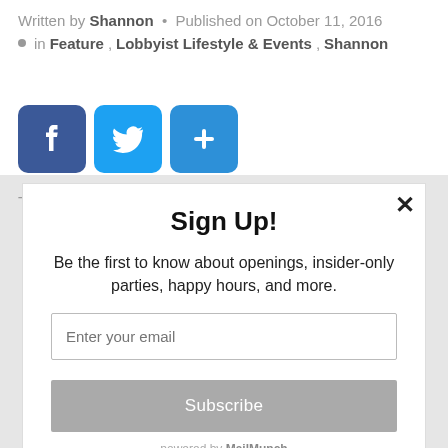Written by Shannon • Published on October 11, 2016
• in Feature, Lobbyist Lifestyle & Events, Shannon
[Figure (other): Social sharing buttons: Facebook (blue), Twitter (light blue), and a share/plus button (blue)]
There's a couple things I learned at "#DCMash Dinner
Sign Up!
Be the first to know about openings, insider-only parties, happy hours, and more.
Enter your email
Subscribe
powered by MailMunch